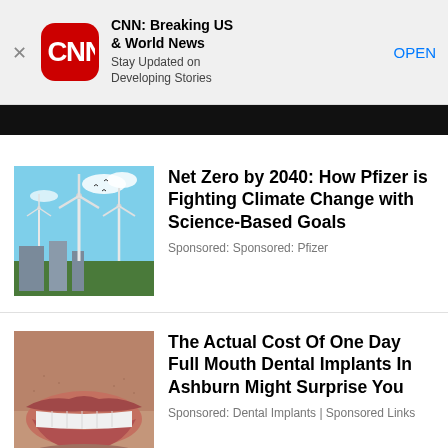[Figure (screenshot): CNN app install banner with red CNN logo icon, title 'CNN: Breaking US & World News', subtitle 'Stay Updated on Developing Stories', and OPEN button]
[Figure (photo): Dark strip / partial image banner below the CNN app banner]
[Figure (illustration): Wind turbines against blue sky with industrial buildings — thumbnail for Pfizer Net Zero article]
Net Zero by 2040: How Pfizer is Fighting Climate Change with Science-Based Goals
Sponsored: Sponsored: Pfizer
[Figure (photo): Close-up photo of a person's mouth/smile showing dental implants — thumbnail for dental implants article]
The Actual Cost Of One Day Full Mouth Dental Implants In Ashburn Might Surprise You
Sponsored: Dental Implants | Sponsored Links